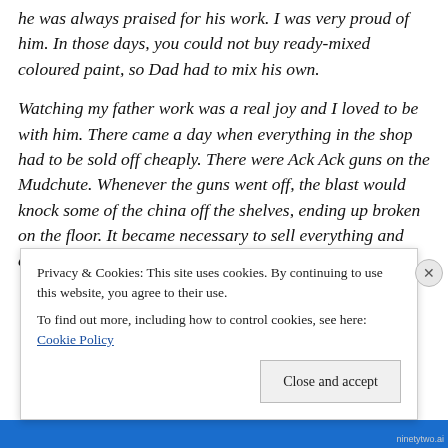he was always praised for his work. I was very proud of him. In those days, you could not buy ready-mixed coloured paint, so Dad had to mix his own.
Watching my father work was a real joy and I loved to be with him. There came a day when everything in the shop had to be sold off cheaply. There were Ack Ack guns on the Mudchute. Whenever the guns went off, the blast would knock some of the china off the shelves, ending up broken on the floor. It became necessary to sell everything and close the shop. This was sad, as it was a thriving
Privacy & Cookies: This site uses cookies. By continuing to use this website, you agree to their use.
To find out more, including how to control cookies, see here: Cookie Policy